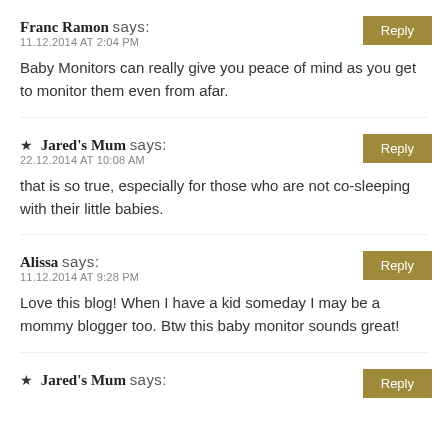Franc Ramon says:
11.12.2014 AT 2:04 PM
Baby Monitors can really give you peace of mind as you get to monitor them even from afar.
★ Jared's Mum says:
22.12.2014 AT 10:08 AM
that is so true, especially for those who are not co-sleeping with their little babies.
Alissa says:
11.12.2014 AT 9:28 PM
Love this blog! When I have a kid someday I may be a mommy blogger too. Btw this baby monitor sounds great!
★ Jared's Mum says: